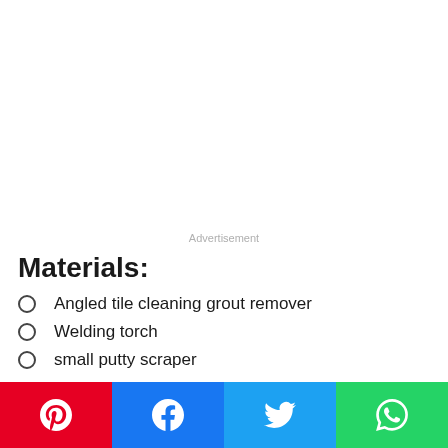Advertisement
Materials:
Angled tile cleaning grout remover
Welding torch
small putty scraper